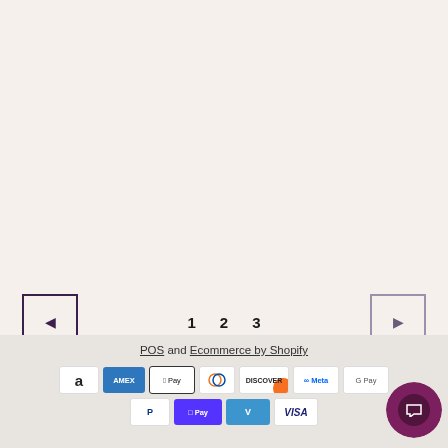[Figure (infographic): Navigation pagination controls showing left arrow button (dark purple border), page numbers 1, 2, 3, and right arrow button (light purple border)]
POS and Ecommerce by Shopify
[Figure (infographic): Payment method icons: Amazon, Amex, Apple Pay, Diners Club, Discover, Meta, Google Pay (row 1); PayPal, Shop Pay, Venmo, Visa (row 2)]